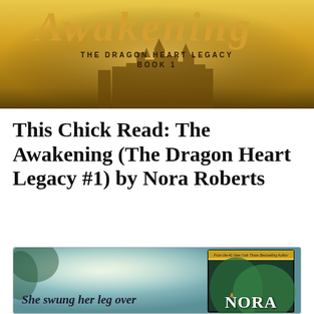[Figure (photo): Book cover banner for 'The Awakening – The Dragon Heart Legacy Book 1' with golden fantasy city skyline silhouette on warm golden background]
This Chick Read: The Awakening (The Dragon Heart Legacy #1) by Nora Roberts
[Figure (photo): Promotional book image showing 'The Awakening' by Nora Roberts book cover on teal/green forest background with text 'She swung her leg over']